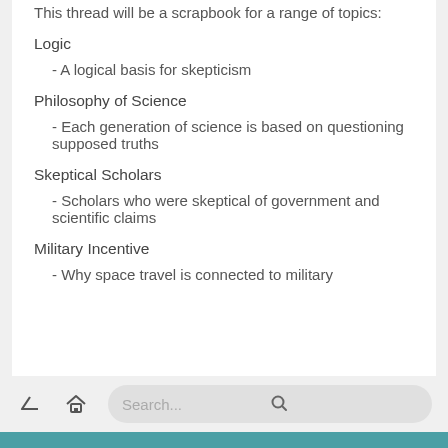This thread will be a scrapbook for a range of topics:
Logic
- A logical basis for skepticism
Philosophy of Science
- Each generation of science is based on questioning supposed truths
Skeptical Scholars
- Scholars who were skeptical of government and scientific claims
Military Incentive
- Why space travel is connected to military